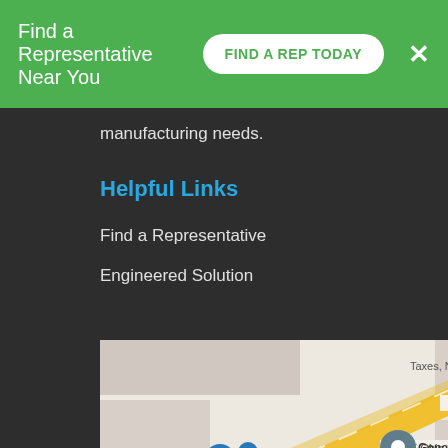Find a Representative Near You  FIND A REP TODAY  ×
manufacturing needs.
Helpful Links
Find a Representative
Engineered Solution
[Figure (map): Google Maps showing the area near Genesis Plastics, CVS, Thursday Pools LLC, with streets E Ohio St, Linda Dr, and a diagonal yellow road (highway). Green location pin for Genesis Plastics and Thursday Pools LLC markers visible.]